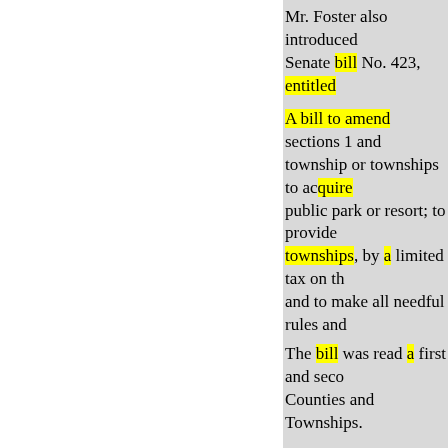Mr. Foster also introduced Senate bill No. 423, entitled
A bill to amend sections 1 and township or townships to acquire public park or resort; to provide townships, by a limited tax on th and to make all needful rules and
The bill was read a first and seco Counties and Townships.
Mr. Newton introduced Senate bill No. 424, entitled
A bill to provide for the inspec
The bill was read a first and seco Affairs.
Mr. Walter introduced Senate bill No. 425, entitled
A bill to prohibit the taking or and Green lakes, or in their tribu